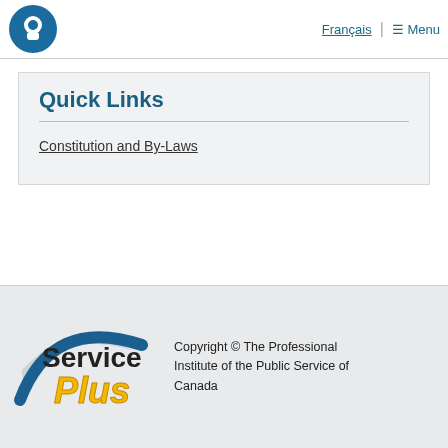Français | ☰ Menu
Quick Links
Constitution and By-Laws
[Figure (logo): Service Plus logo with blue swoosh and yellow stylized text]
Copyright © The Professional Institute of the Public Service of Canada